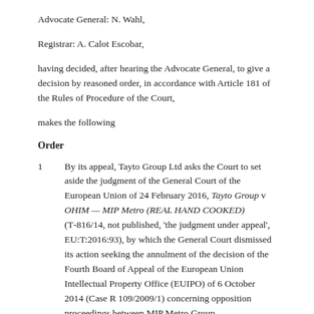Advocate General: N. Wahl,
Registrar: A. Calot Escobar,
having decided, after hearing the Advocate General, to give a decision by reasoned order, in accordance with Article 181 of the Rules of Procedure of the Court,
makes the following
Order
1      By its appeal, Tayto Group Ltd asks the Court to set aside the judgment of the General Court of the European Union of 24 February 2016, Tayto Group v OHIM — MIP Metro (REAL HAND COOKED) (T-816/14, not published, 'the judgment under appeal', EU:T:2016:93), by which the General Court dismissed its action seeking the annulment of the decision of the Fourth Board of Appeal of the European Union Intellectual Property Office (EUIPO) of 6 October 2014 (Case R 109/2009/1) concerning opposition proceedings between MIP Metro Group